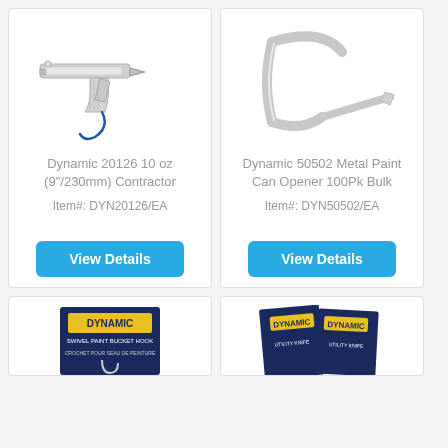[Figure (photo): Chrome caulking gun, 10 oz contractor grade, with blue cord]
Dynamic 20126 10 oz (9"/230mm) Contractor
Item#: DYN20126/EA
[Figure (photo): Metal paint can opener, chrome, hook shape]
Dynamic 50502 Metal Paint Can Opener 100Pk Bulk
Item#: DYN50502/EA
[Figure (photo): Dynamic swivel paint bucket hook product packaging]
[Figure (photo): Dynamic utility knife product packaging]